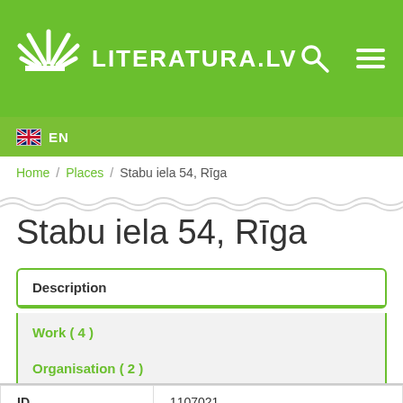LITERATURA.LV
EN
Home / Places / Stabu iela 54, Rīga
Stabu iela 54, Rīga
Description
Work ( 4 )
Organisation ( 2 )
Person ( 2 )
| ID |  |
| --- | --- |
| ID | 1107021 |